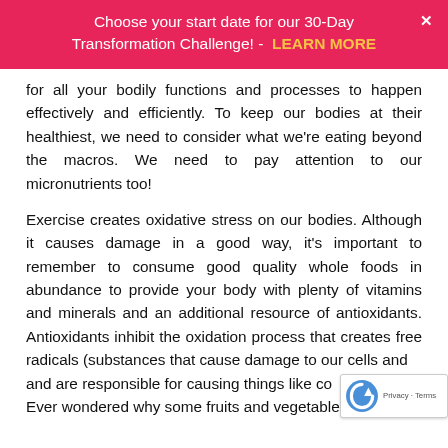Choose your start date for our 30-Day Transformation Challenge! - LEARN MORE
for all your bodily functions and processes to happen effectively and efficiently. To keep our bodies at their healthiest, we need to consider what we're eating beyond the macros. We need to pay attention to our micronutrients too!
Exercise creates oxidative stress on our bodies. Although it causes damage in a good way, it's important to remember to consume good quality whole foods in abundance to provide your body with plenty of vitamins and minerals and an additional resource of antioxidants. Antioxidants inhibit the oxidation process that creates free radicals (substances that cause damage to our cells and and are responsible for causing things like co... Ever wondered why some fruits and vegetables a... colorful? Well, their intense colors are from pigments